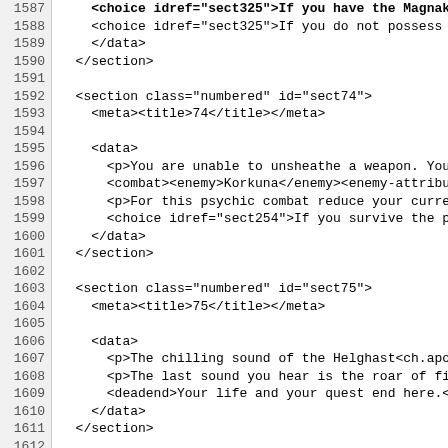Source code listing lines 1587-1619, XML markup for a gamebook/interactive fiction document with sections sect74, sect75, sect76
1587: <choice idref="sect325">If you have the Magnakai...
1588:     <choice idref="sect325">If you do not possess thi
1589:     </data>
1590: </section>
1591:
1592: <section class="numbered" id="sect74">
1593:     <meta><title>74</title></meta>
1594:
1595:     <data>
1596:       <p>You are unable to unsheathe a weapon. Your onl
1597:       <combat><enemy>Korkuna</enemy><enemy-attribute cl
1598:       <p>For this psychic combat reduce your current <t
1599:       <choice idref="sect254">If you survive the psychi
1600:     </data>
1601: </section>
1602:
1603: <section class="numbered" id="sect75">
1604:     <meta><title>75</title></meta>
1605:
1606:     <data>
1607:       <p>The chilling sound of the Helghast<ch.apos/>s
1608:       <p>The last sound you hear is the roar of fire as
1609:       <deadend>Your life and your quest end here.</dead
1610:     </data>
1611: </section>
1612:
1613: <section class="numbered" id="sect76">
1614:     <meta><title>76</title></meta>
1615:
1616:     <data>
1617:       <p>The monks are communicating telepathically. Al
1618:       <choice idref="sect275">If you wish to stop to pa
1619:       <choice idref="sect55">If you wish to continue o